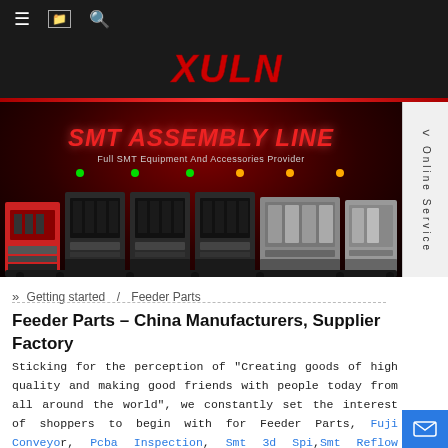Navigation bar with menu, translate, and search icons
[Figure (logo): XULN logo in red italic font on dark background]
[Figure (photo): SMT Assembly Line banner with red background showing industrial SMT machines. Text: SMT ASSEMBLY LINE, Full SMT Equipment And Accessories Provider]
» Getting started / Feeder Parts
Feeder Parts – China Manufacturers, Suppliers, Factory
Sticking for the perception of "Creating goods of high quality and making good friends with people today from all around the world", we constantly set the interest of shoppers to begin with for Feeder Parts, Fuji Conveyor, Pcba Inspection, Smt 3d Spi, Smt Reflow Machine. To